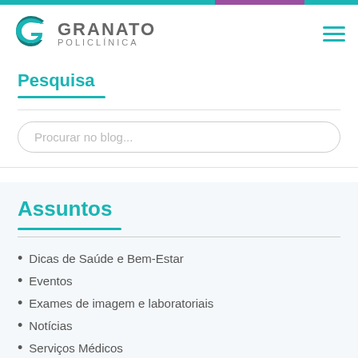[Figure (logo): Granato Policlínica logo with teal G icon and gray text]
Pesquisa
Procurar no blog...
Assuntos
Dicas de Saúde e Bem-Estar
Eventos
Exames de imagem e laboratoriais
Notícias
Serviços Médicos